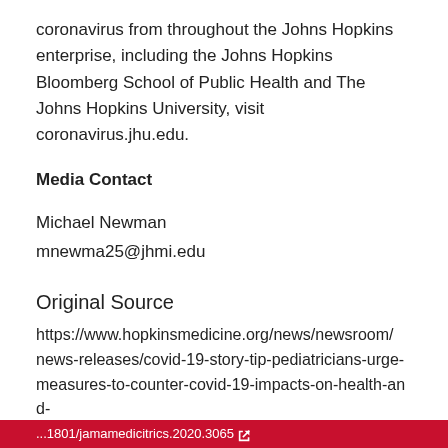coronavirus from throughout the Johns Hopkins enterprise, including the Johns Hopkins Bloomberg School of Public Health and The Johns Hopkins University, visit coronavirus.jhu.edu.
Media Contact
Michael Newman
mnewma25@jhmi.edu
Original Source
https://www.hopkinsmedicine.org/news/newsroom/news-releases/covid-19-story-tip-pediatricians-urge-measures-to-counter-covid-19-impacts-on-health-and-well-being-of-children-from-low-income-households ↗
Related Journal Article
...1801/jamamedicitrics.2020.3065 ↗